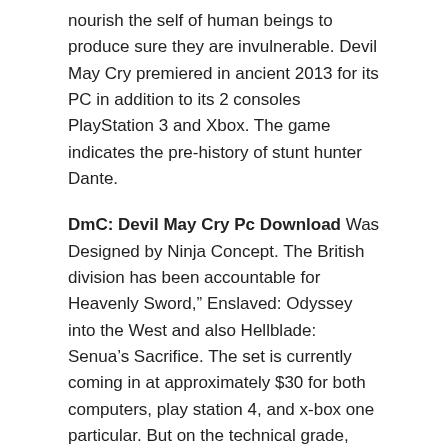nourish the self of human beings to produce sure they are invulnerable. Devil May Cry premiered in ancient 2013 for its PC in addition to its 2 consoles PlayStation 3 and Xbox. The game indicates the pre-history of stunt hunter Dante.
DmC: Devil May Cry Pc Download Was Designed by Ninja Concept. The British division has been accountable for Heavenly Sword," Enslaved: Odyssey into the West and also Hellblade: Senua's Sacrifice. The set is currently coming in at approximately $30 for both computers, play station 4, and x-box one particular. But on the technical grade, DmC is impeccable. The cartoon expressions and words, clearly. The observable effects of overcoming are remarkable. But absolutely nothing in contrast to exactly what Ninja principle is achieved. Whenever you understand the shift involving the actual life and limbo. And also the end result is a bit much less than striking. Has to be viewed to be thought.